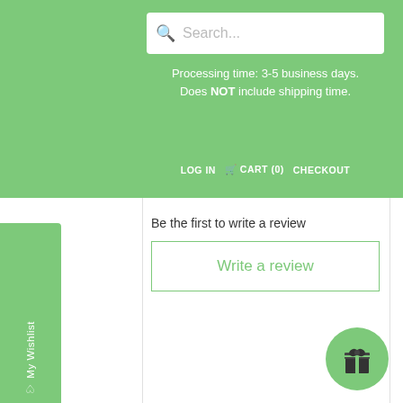Processing time: 3-5 business days. Does NOT include shipping time.
LOG IN   CART (0)   CHECKOUT
Be the first to write a review
Write a review
RELATED ITEMS
My Wishlist